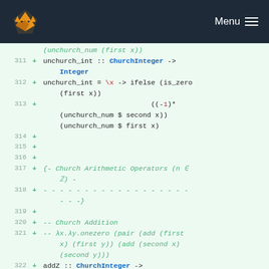Menu
[Figure (screenshot): Code diff view showing Haskell source code lines 311-322 with additions marked by '+'. Lines include unchurch_int type signature, implementation with ifelse/is_zero, Church Arithmetic Operators section comment, and addZ function beginning.]